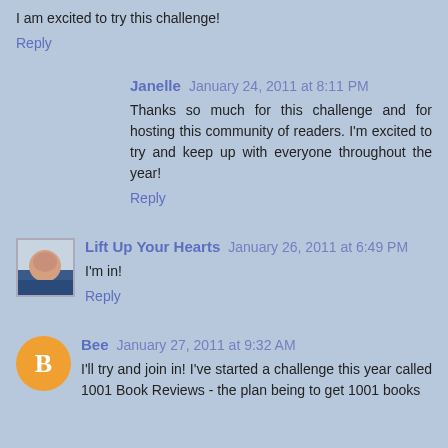I am excited to try this challenge!
Reply
Janelle  January 24, 2011 at 8:11 PM
Thanks so much for this challenge and for hosting this community of readers. I'm excited to try and keep up with everyone throughout the year!
Reply
Lift Up Your Hearts  January 26, 2011 at 6:49 PM
I'm in!
Reply
Bee  January 27, 2011 at 9:32 AM
I'll try and join in! I've started a challenge this year called 1001 Book Reviews - the plan being to get 1001 books